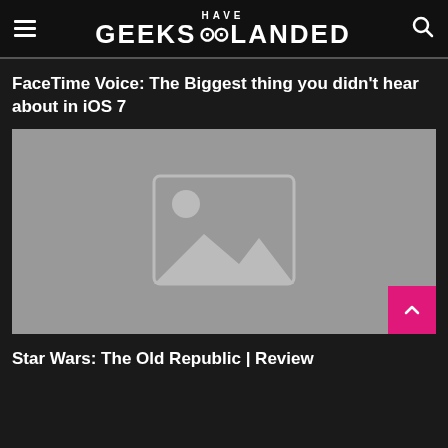GEEKS HAVE LANDED
FaceTime Voice: The Biggest thing you didn’t hear about in iOS 7
[Figure (photo): Placeholder image with mountains/landscape icon on grey background]
Star Wars: The Old Republic | Review